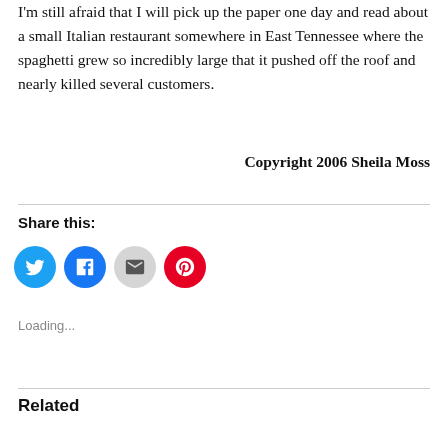I'm still afraid that I will pick up the paper one day and read about a small Italian restaurant somewhere in East Tennessee where the spaghetti grew so incredibly large that it pushed off the roof and nearly killed several customers.
Copyright 2006 Sheila Moss
Share this:
[Figure (infographic): Four circular social share buttons: Twitter (blue), Facebook (blue), Email (gray), Pinterest (red)]
Loading...
Related